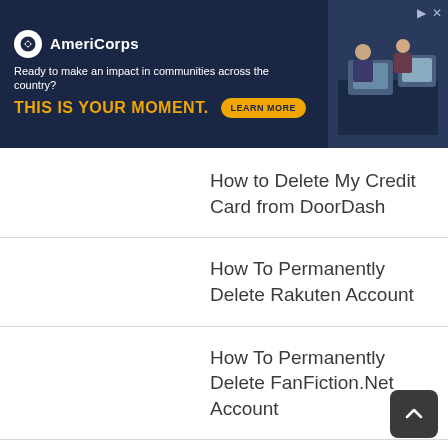[Figure (screenshot): AmeriCorps advertisement banner with dark navy background, AmeriCorps logo, tagline 'Ready to make an impact in communities across the country?', bold gold text 'THIS IS YOUR MOMENT.', a 'LEARN MORE' button, and a photo of people working at computers on the right side.]
How to Delete My Credit Card from DoorDash
How To Permanently Delete Rakuten Account
How To Permanently Delete FanFiction.Net Account
How To Permanently Delete Barnes and Noble Account
How To Permanently Delete Walgreens Account